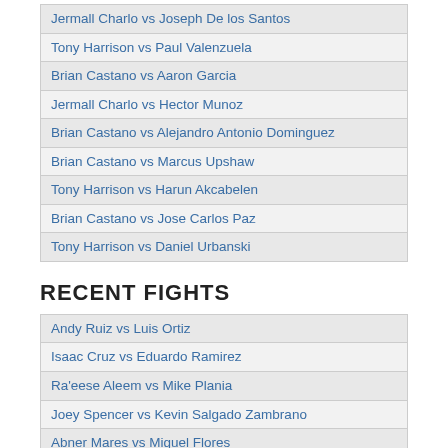| Jermall Charlo vs Joseph De los Santos |
| Tony Harrison vs Paul Valenzuela |
| Brian Castano vs Aaron Garcia |
| Jermall Charlo vs Hector Munoz |
| Brian Castano vs Alejandro Antonio Dominguez |
| Brian Castano vs Marcus Upshaw |
| Tony Harrison vs Harun Akcabelen |
| Brian Castano vs Jose Carlos Paz |
| Tony Harrison vs Daniel Urbanski |
RECENT FIGHTS
| Andy Ruiz vs Luis Ortiz |
| Isaac Cruz vs Eduardo Ramirez |
| Ra'eese Aleem vs Mike Plania |
| Joey Spencer vs Kevin Salgado Zambrano |
| Abner Mares vs Miguel Flores |
| Jose Valenzuela vs Edwin De Los Santos |
| Liam Smith vs Hassan Mwakinyo |
| Dan Azeez vs Shakan Pitters |